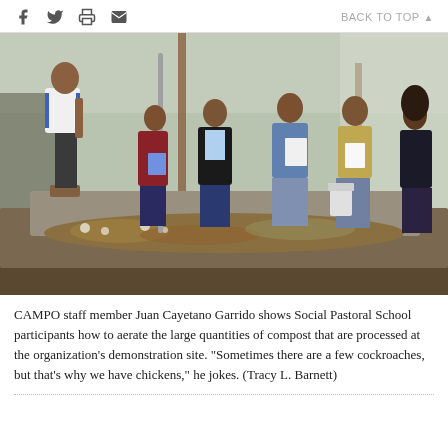BACK TO TOP
[Figure (photo): CAMPO staff member Juan Cayetano Garrido stands on a raised platform and demonstrates how to aerate a large compost bin to Social Pastoral School participants. Several women stand around the composting area inside a greenhouse-like structure, some holding notebooks and papers.]
CAMPO staff member Juan Cayetano Garrido shows Social Pastoral School participants how to aerate the large quantities of compost that are processed at the organization's demonstration site. "Sometimes there are a few cockroaches, but that's why we have chickens," he jokes. (Tracy L. Barnett)